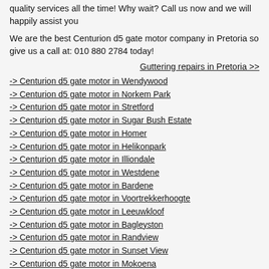quality services all the time! Why wait? Call us now and we will happily assist you
We are the best Centurion d5 gate motor company in Pretoria so give us a call at: 010 880 2784 today!
Guttering repairs in Pretoria >>
-> Centurion d5 gate motor in Wendywood
-> Centurion d5 gate motor in Norkem Park
-> Centurion d5 gate motor in Stretford
-> Centurion d5 gate motor in Sugar Bush Estate
-> Centurion d5 gate motor in Homer
-> Centurion d5 gate motor in Helikonpark
-> Centurion d5 gate motor in Illiondale
-> Centurion d5 gate motor in Westdene
-> Centurion d5 gate motor in Bardene
-> Centurion d5 gate motor in Voortrekkerhoogte
-> Centurion d5 gate motor in Leeuwkloof
-> Centurion d5 gate motor in Bagleyston
-> Centurion d5 gate motor in Randview
-> Centurion d5 gate motor in Sunset View
-> Centurion d5 gate motor in Mokoena
-> Centurion d5 gate motor in Plantation
-> Centurion d5 gate motor in Blue Hills Country Estate
-> Centurion d5 gate motor in The Hills
-> Centurion d5 gate motor in Honeydew